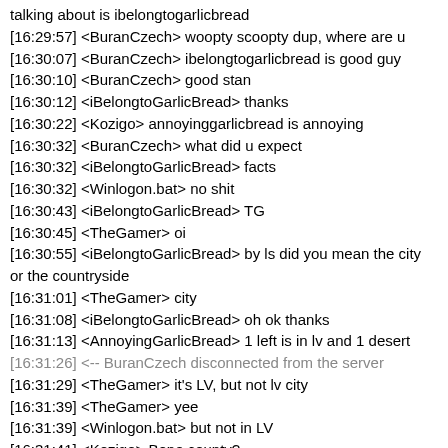talking about is ibelongtogarlicbread
[16:29:57] <BuranCzech> woopty scoopty dup, where are u
[16:30:07] <BuranCzech> ibelongtogarlicbread is good guy
[16:30:10] <BuranCzech> good stan
[16:30:12] <iBelongtoGarlicBread> thanks
[16:30:22] <Kozigo> annoyinggarlicbread is annoying
[16:30:32] <BuranCzech> what did u expect
[16:30:32] <iBelongtoGarlicBread> facts
[16:30:32] <Winlogon.bat> no shit
[16:30:43] <iBelongtoGarlicBread> TG
[16:30:45] <TheGamer> oi
[16:30:55] <iBelongtoGarlicBread> by ls did you mean the city or the countryside
[16:31:01] <TheGamer> city
[16:31:08] <iBelongtoGarlicBread> oh ok thanks
[16:31:13] <AnnoyingGarlicBread> 1 left is in lv and 1 desert
[16:31:26] <-- BuranCzech disconnected from the server
[16:31:29] <TheGamer> it's LV, but not lv city
[16:31:39] <TheGamer> yee
[16:31:39] <Winlogon.bat> but not in LV
[16:31:41] <Kozigo> Bone county?
[16:31:44] --> Max_Stanbacker connected to the server
[16:31:46] <iBelongtoGarlicBread> ladies
[16:31:49] <iBelongtoGarlicBread> I found one
[16:31:49] <TheGamer> like i'm gonna tell placenames...